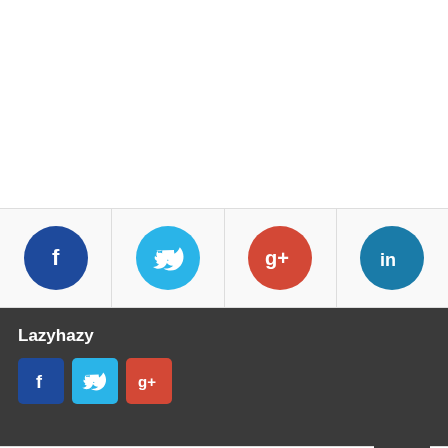[Figure (infographic): Social share bar with circular icons for Facebook, Twitter, Google+, and LinkedIn]
Lazyhazy
[Figure (infographic): Footer social icons: square Facebook, Twitter, Google+ buttons]
RELATED POST